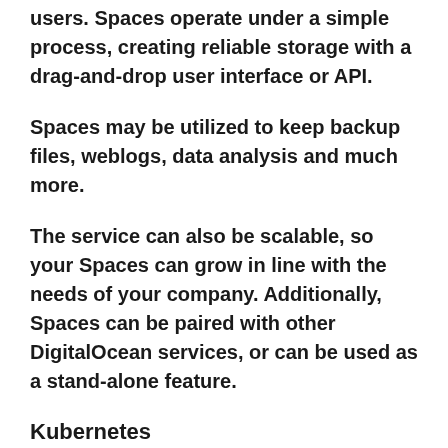users. Spaces operate under a simple process, creating reliable storage with a drag-and-drop user interface or API.
Spaces may be utilized to keep backup files, weblogs, data analysis and much more.
The service can also be scalable, so your Spaces can grow in line with the needs of your company. Additionally, Spaces can be paired with other DigitalOcean services, or can be used as a stand-alone feature.
Kubernetes
Kubernetes are designed to be used by